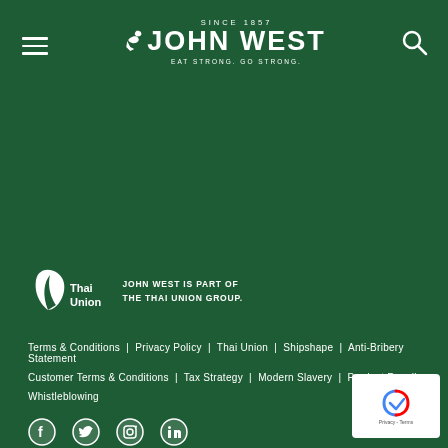[Figure (logo): John West logo with bird, SINCE 1857, EAT STRONG. GO STRONG. tagline on dark green background header]
[Figure (logo): Thai Union logo - white leaf/fish shape with Thai Union text]
JOHN WEST IS PART OF THE THAI UNION GROUP.
Terms & Conditions  |  Privacy Policy  |  Thai Union  |  Shipshape  |  Anti-Bribery Statement
Customer Terms & Conditions  |  Tax Strategy  |  Modern Slavery  |  Product Recall
Whistleblowing
[Figure (illustration): Social media icons: Facebook, Twitter, Instagram, LinkedIn]
© John West 2022